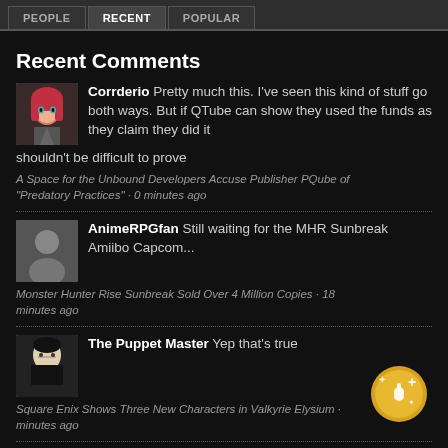PEOPLE | RECENT | POPULAR
Recent Comments
Corrderio Pretty much this. I've seen this kind of stuff go both ways. But if QTube can show they used the funds as they claim they did it shouldn't be difficult to prove
A Space for the Unbound Developers Accuse Publisher PQube of "Predatory Practices" · 0 minutes ago
AnimeRPGfan Still waiting for the MHR Sunbreak Amiibo Capcom...
Monster Hunter Rise Sunbreak Sold Over 4 Million Copies · 18 minutes ago
The Puppet Master Yep that's true
Square Enix Shows Three New Characters in Valkyrie Elysium · minutes ago
Istillduno Best just to wait and see what the courts say about this.